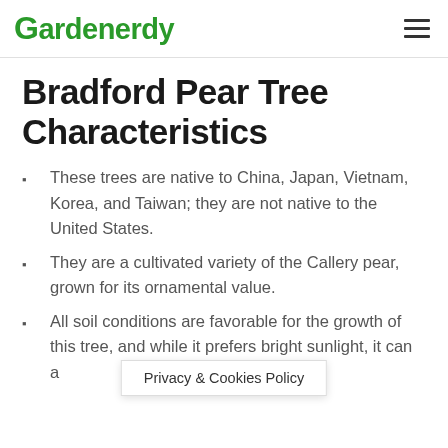Gardenerdy
Bradford Pear Tree Characteristics
These trees are native to China, Japan, Vietnam, Korea, and Taiwan; they are not native to the United States.
They are a cultivated variety of the Callery pear, grown for its ornamental value.
All soil conditions are favorable for the growth of this tree, and while it prefers bright sunlight, it can also grow in shaded areas.
Privacy & Cookies Policy